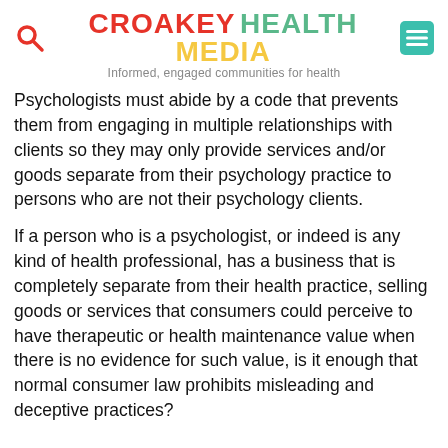CROAKEY HEALTH MEDIA — Informed, engaged communities for health
Psychologists must abide by a code that prevents them from engaging in multiple relationships with clients so they may only provide services and/or goods separate from their psychology practice to persons who are not their psychology clients.
If a person who is a psychologist, or indeed is any kind of health professional, has a business that is completely separate from their health practice, selling goods or services that consumers could perceive to have therapeutic or health maintenance value when there is no evidence for such value, is it enough that normal consumer law prohibits misleading and deceptive practices?